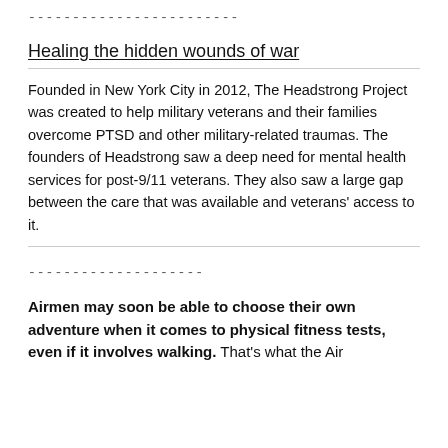------------------------
Healing the hidden wounds of war
Founded in New York City in 2012, The Headstrong Project was created to help military veterans and their families overcome PTSD and other military-related traumas. The founders of Headstrong saw a deep need for mental health services for post-9/11 veterans. They also saw a large gap between the care that was available and veterans' access to it.
--------------------
Airmen may soon be able to choose their own adventure when it comes to physical fitness tests, even if it involves walking. That's what the Air